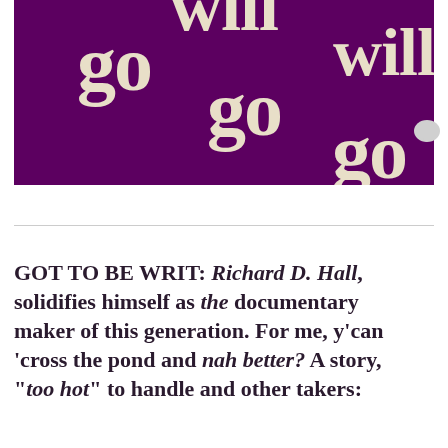[Figure (illustration): Purple/dark magenta background with large cream/beige bold serif text showing the words 'will', 'go', 'will', 'go', 'go' arranged in a diagonal cascading pattern across the image. The text appears to be repeated words 'will go' in a kinetic typography style.]
GOT TO BE WRIT: Richard D. Hall, solidifies himself as the documentary maker of this generation. For me, y'can 'cross the pond and nah better? A story, "too hot" to handle and other takers: